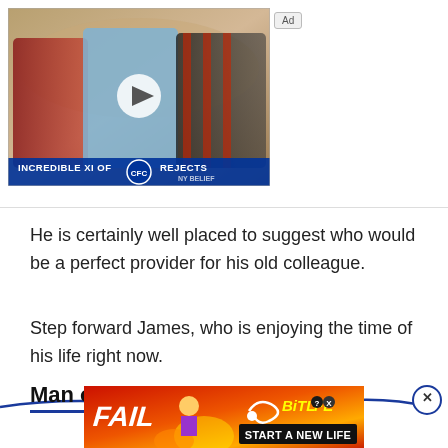[Figure (screenshot): Video thumbnail showing football players with text 'INCREDIBLE XI OF [Chelsea FC logo] REJECTS' and a play button overlay. An 'Ad' badge is visible top right of the thumbnail.]
He is certainly well placed to suggest who would be a perfect provider for his old colleague.
Step forward James, who is enjoying the time of his life right now.
Man of the moment
[Figure (screenshot): BitLife advertisement banner: 'FAIL' text with animated character, 'BITLIFE START A NEW LIFE' branding on orange/red fiery background.]